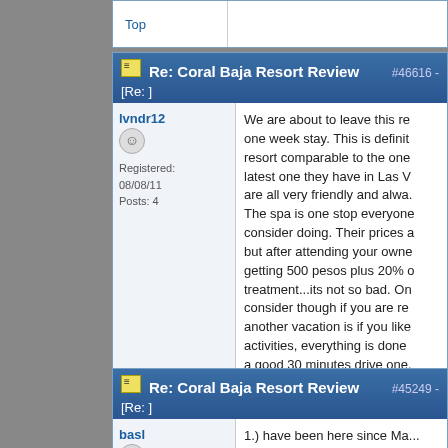Top
Re: Coral Baja Resort Review [Re: ] #46616 -
lvndr12
Registered: 08/08/11
Posts: 4
We are about to leave this re... one week stay. This is definit... resort comparable to the one... latest one they have in Las V... are all very friendly and alwa... The spa is one stop everyone... consider doing. Their prices a... but after attending your owne... getting 500 pesos plus 20% o... treatment...its not so bad. On... consider though if you are re... another vacation is if you like... activities, everything is done... a good 30 minutes drive one... But if you are here mainly to... Jose del Cabo is the way to g...
Top
Re: Coral Baja Resort Review [Re: ] #45249 -
basl
1.) have been here since Ma... great
2.) Bring sunscreen and use...